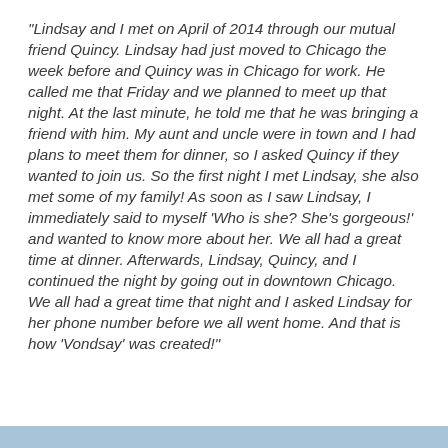“Lindsay and I met on April of 2014 through our mutual friend Quincy. Lindsay had just moved to Chicago the week before and Quincy was in Chicago for work. He called me that Friday and we planned to meet up that night. At the last minute, he told me that he was bringing a friend with him. My aunt and uncle were in town and I had plans to meet them for dinner, so I asked Quincy if they wanted to join us. So the first night I met Lindsay, she also met some of my family! As soon as I saw Lindsay, I immediately said to myself ‘Who is she? She’s gorgeous!’ and wanted to know more about her. We all had a great time at dinner. Afterwards, Lindsay, Quincy, and I continued the night by going out in downtown Chicago. We all had a great time that night and I asked Lindsay for her phone number before we all went home. And that is how ‘Vondsay’ was created!”